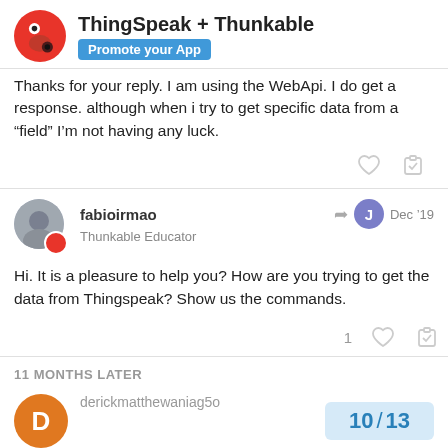ThingSpeak + Thunkable | Promote your App
Thanks for your reply. I am using the WebApi. I do get a response. although when i try to get specific data from a “field” I’m not having any luck.
fabioirmao | Thunkable Educator | Dec ’19
Hi. It is a pleasure to help you? How are you trying to get the data from Thingspeak? Show us the commands.
11 MONTHS LATER
derickmatthewaniag5o | 10 / 13